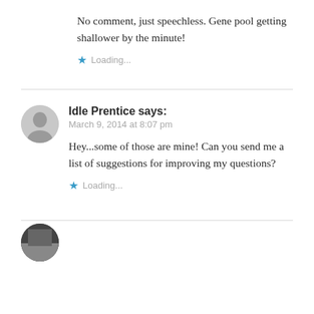No comment, just speechless. Gene pool getting shallower by the minute!
Loading...
Idle Prentice says:
March 9, 2014 at 8:07 pm
Hey...some of those are mine! Can you send me a list of suggestions for improving my questions?
Loading...